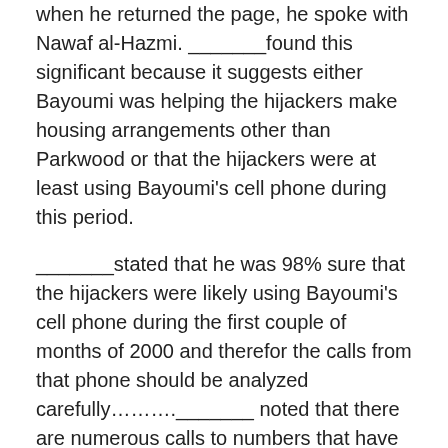when he returned the page, he spoke with Nawaf al-Hazmi. _______found this significant because it suggests either Bayoumi was helping the hijackers make housing arrangements other than Parkwood or that the hijackers were at least using Bayoumi's cell phone during this period.
_______stated that he was 98% sure that the hijackers were likely using Bayoumi's cell phone during the first couple of months of 2000 and therefor the calls from that phone should be analyzed carefully………._______ noted that there are numerous calls to numbers that have never been investigated, and he believed this should be an issue of grave concern. Who were the hijackers potentially contacting at this time?" http://www.scribd.com/doc/20300246/Mfr-Nara-t1a-FBI-FBI-Special-Agent-63-11-17-03-00458
"Who were the hijackers potentially contacting at